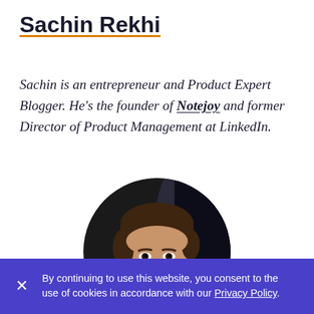Sachin Rekhi
Sachin is an entrepreneur and Product Expert Blogger. He's the founder of Notejoy and former Director of Product Management at LinkedIn.
[Figure (photo): Circular headshot photo of Sachin Rekhi, a man with dark brown hair, smiling, wearing a dark jacket, photographed outdoors.]
By continuing to use this website, you consent to the use of cookies in accordance with our Privacy Policy.